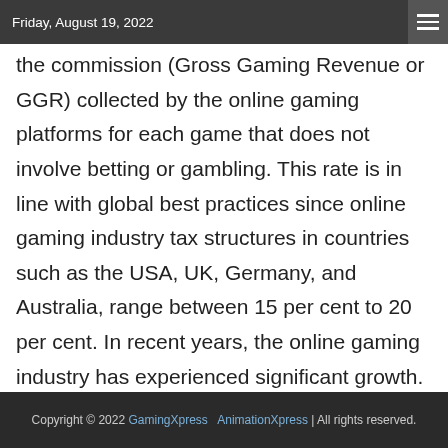Friday, August 19, 2022
the commission (Gross Gaming Revenue or GGR) collected by the online gaming platforms for each game that does not involve betting or gambling. This rate is in line with global best practices since online gaming industry tax structures in countries such as the USA, UK, Germany, and Australia, range between 15 per cent to 20 per cent. In recent years, the online gaming industry has experienced significant growth. The sector generated Rs 115 billion in revenue in 2020, and it is predicted to expan
Copyright © 2022 GamingXpress   AnimationXpress | All rights reserved.